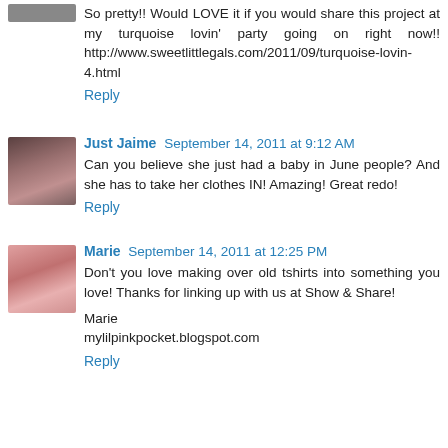So pretty!! Would LOVE it if you would share this project at my turquoise lovin' party going on right now!! http://www.sweetlittlegals.com/2011/09/turquoise-lovin-4.html
Reply
Just Jaime  September 14, 2011 at 9:12 AM
Can you believe she just had a baby in June people? And she has to take her clothes IN! Amazing! Great redo!
Reply
Marie  September 14, 2011 at 12:25 PM
Don't you love making over old tshirts into something you love! Thanks for linking up with us at Show & Share!

Marie
mylilpinkpocket.blogspot.com
Reply